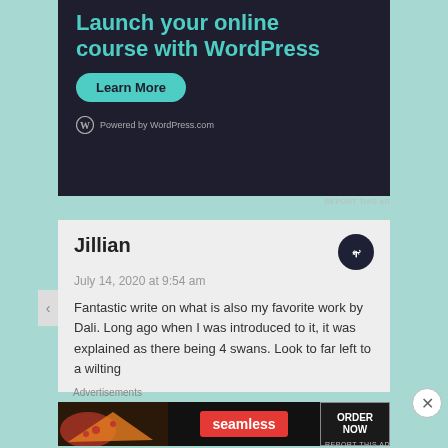[Figure (screenshot): WordPress.com advertisement with dark background. Text reads 'Launch your online course with WordPress' in teal, a green rounded 'Learn More' button, and 'Powered by WordPress.com' at the bottom.]
REPORT THIS AD
Jillian
July 14, 2020 at 9:54 am
Fantastic write on what is also my favorite work by Dali. Long ago when I was introduced to it, it was explained as there being 4 swans. Look to far left to a wilting
Advertisements
[Figure (screenshot): Seamless food delivery advertisement showing pizza on left, Seamless red badge in center, and 'ORDER NOW' button with border on right, on dark background.]